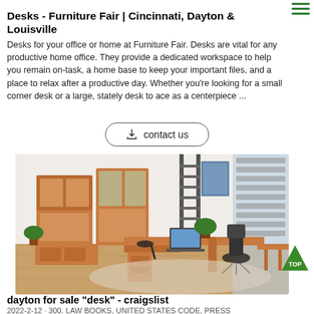Desks - Furniture Fair | Cincinnati, Dayton & Louisville
Desks for your office or home at Furniture Fair. Desks are vital for any productive home office. They provide a dedicated workspace to help you remain on-task, a home base to keep your important files, and a place to relax after a productive day. Whether you're looking for a small corner desk or a large, stately desk to ace as a centerpiece ...
[Figure (other): Contact us button with download icon]
[Figure (photo): Office furniture showroom with wooden desks, bookshelves, office chairs, and plants on wood flooring]
dayton for sale "desk" - craigslist
2022-2-12 · 300. LAW BOOKS, UNITED STATES CODE, PRESS